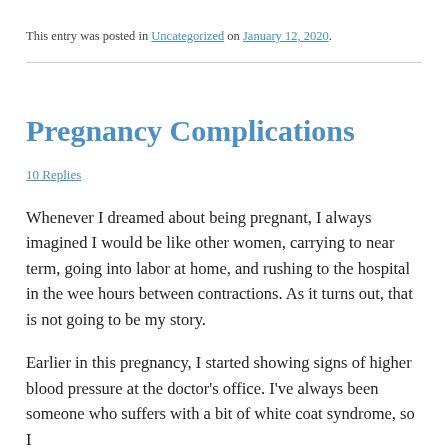This entry was posted in Uncategorized on January 12, 2020.
Pregnancy Complications
10 Replies
Whenever I dreamed about being pregnant, I always imagined I would be like other women, carrying to near term, going into labor at home, and rushing to the hospital in the wee hours between contractions. As it turns out, that is not going to be my story.
Earlier in this pregnancy, I started showing signs of higher blood pressure at the doctor's office. I've always been someone who suffers with a bit of white coat syndrome, so I